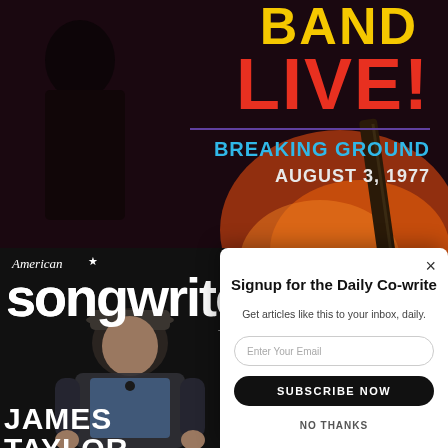[Figure (photo): Concert album cover with dark background, fire/guitar imagery, yellow BAND text, red LIVE! text, teal BREAKING GROUND subtitle, white AUGUST 3, 1977 date]
[Figure (photo): American Songwriter magazine cover featuring James Taylor in black cap and jacket, sitting, with white logo text and contributor names on right side]
[Figure (screenshot): Email signup modal overlay with X close button, Signup for the Daily Co-write heading, email input field, SUBSCRIBE NOW black button, NO THANKS link]